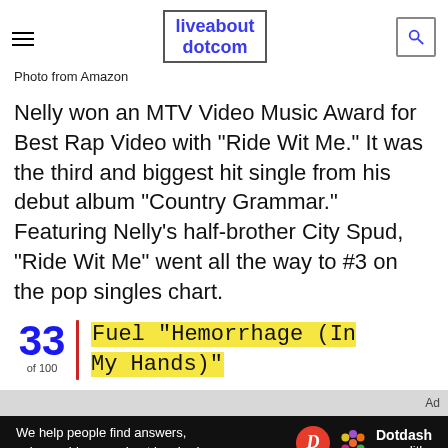liveabout dotcom
Photo from Amazon
Nelly won an MTV Video Music Award for Best Rap Video with "Ride Wit Me." It was the third and biggest hit single from his debut album "Country Grammar." Featuring Nelly's half-brother City Spud, "Ride Wit Me" went all the way to #3 on the pop singles chart.
33 of 100 Fuel "Hemorrhage (In My Hands)"
[Figure (other): Bottom advertisement banner: 'We help people find answers, solve problems and get inspired.' with Dotdash Meredith logo]